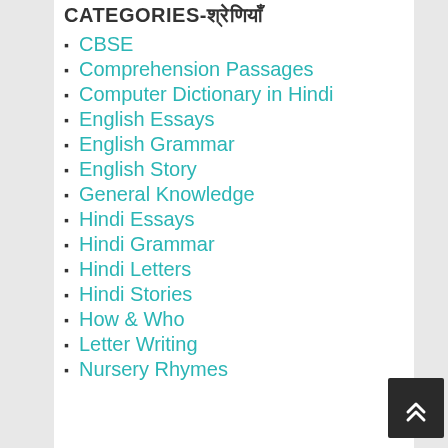CATEGORIES-श्रेणियाँ
CBSE
Comprehension Passages
Computer Dictionary in Hindi
English Essays
English Grammar
English Story
General Knowledge
Hindi Essays
Hindi Grammar
Hindi Letters
Hindi Stories
How & Who
Letter Writing
Nursery Rhymes